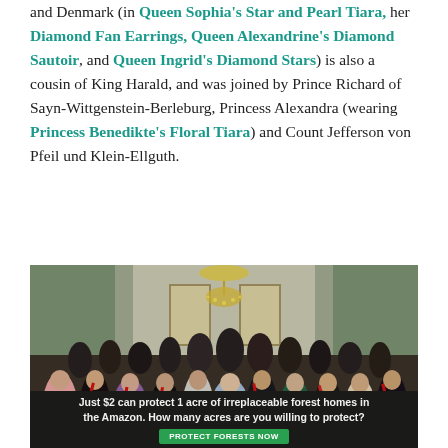and Denmark (in Queen Sophia's Star and Pearl Tiara, her Diamond Fan Earrings, Queen Alexandrine's Diamond Sautoir, and Queen Ingrid's Diamond Stars) is also a cousin of King Harald, and was joined by Prince Richard of Sayn-Wittgenstein-Berleburg, Princess Alexandra (wearing Princess Benedikte's Floral Tiara) and Count Jefferson von Pfeil und Klein-Ellguth.
[Figure (photo): Group photo of royals and dignitaries in formal attire with red sashes, standing in an ornate room with chandeliers and green-painted walls.]
Just $2 can protect 1 acre of irreplaceable forest homes in the Amazon. How many acres are you willing to protect? PROTECT FORESTS NOW